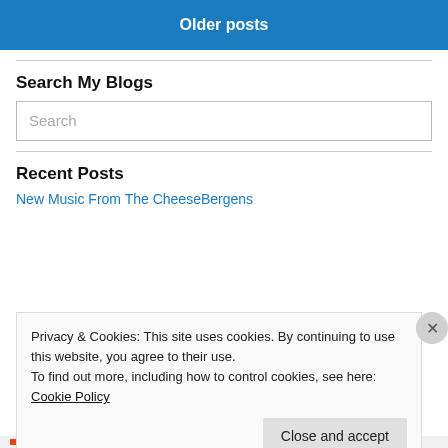Older posts
Search My Blogs
Search
Recent Posts
New Music From The CheeseBergens
Privacy & Cookies: This site uses cookies. By continuing to use this website, you agree to their use.
To find out more, including how to control cookies, see here: Cookie Policy
Close and accept